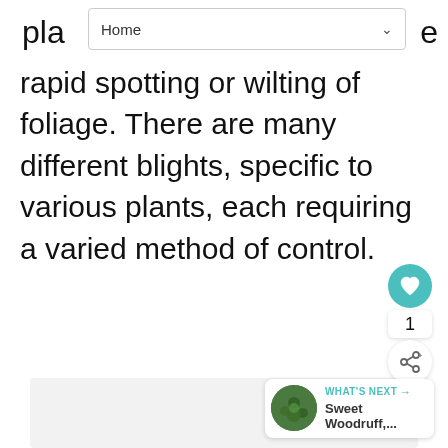Home
rapid spotting or wilting of foliage. There are many different blights, specific to various plants, each requiring a varied method of control.
[Figure (screenshot): Grey content area block representing an image or embedded media section of a webpage]
[Figure (infographic): Social interaction UI: heart/like button (teal circle), count of 1, and share button (white circle with share icon)]
[Figure (infographic): What's Next card showing Sweet Woodruff article thumbnail and title]